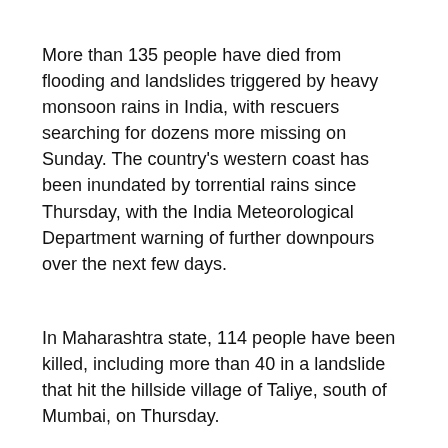More than 135 people have died from flooding and landslides triggered by heavy monsoon rains in India, with rescuers searching for dozens more missing on Sunday. The country's western coast has been inundated by torrential rains since Thursday, with the India Meteorological Department warning of further downpours over the next few days.
In Maharashtra state, 114 people have been killed, including more than 40 in a landslide that hit the hillside village of Taliye, south of Mumbai, on Thursday.